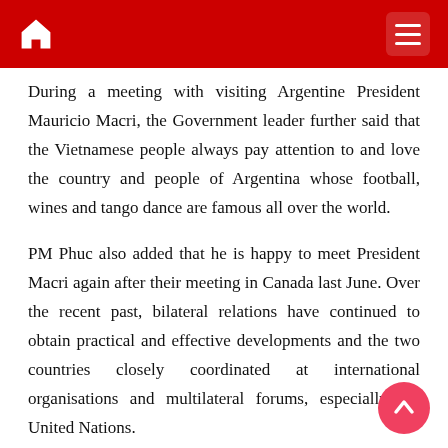During a meeting with visiting Argentine President Mauricio Macri, the Government leader further said that the Vietnamese people always pay attention to and love the country and people of Argentina whose football, wines and tango dance are famous all over the world.
PM Phuc also added that he is happy to meet President Macri again after their meeting in Canada last June. Over the recent past, bilateral relations have continued to obtain practical and effective developments and the two countries closely coordinated at international organisations and multilateral forums, especially the United Nations.
For his part, President Macri affirmed that Vietnam is the